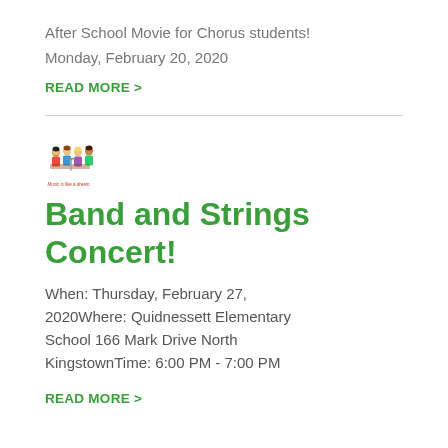After School Movie for Chorus students!
Monday, February 20, 2020
READ MORE >
[Figure (illustration): Cartoon illustration of children playing musical instruments with text 'Music is like a dream.']
Band and Strings Concert!
When: Thursday, February 27, 2020Where: Quidnessett Elementary School 166 Mark Drive North KingstownTime: 6:00 PM - 7:00 PM
READ MORE >